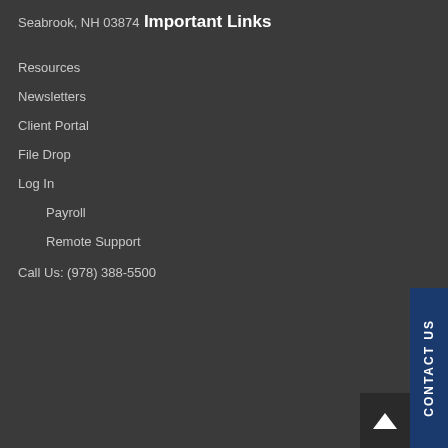Seabrook, NH 03874
Important Links
Resources
Newsletters
Client Portal
File Drop
Log In
Payroll
Remote Support
Call Us: (978) 388-5500